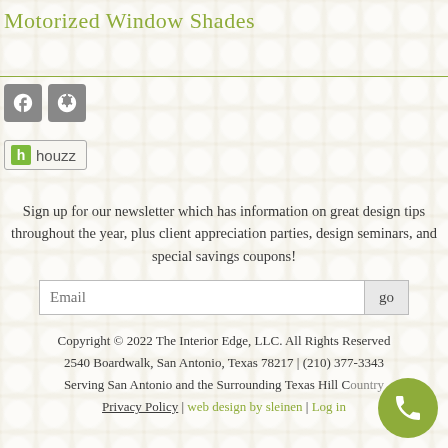Motorized Window Shades
[Figure (logo): Facebook and Yelp social media icon buttons]
[Figure (logo): Houzz button with green h logo and 'houzz' text]
Sign up for our newsletter which has information on great design tips throughout the year, plus client appreciation parties, design seminars, and special savings coupons!
Email  go
Copyright © 2022 The Interior Edge, LLC. All Rights Reserved
2540 Boardwalk, San Antonio, Texas 78217 | (210) 377-3343
Serving San Antonio and the Surrounding Texas Hill Country
Privacy Policy | web design by sleinen | Log in